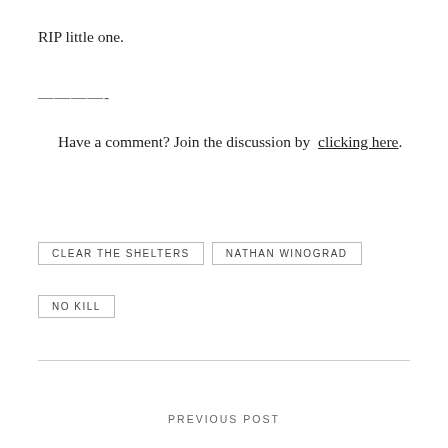RIP little one.
————-
Have a comment? Join the discussion by clicking here.
CLEAR THE SHELTERS   NATHAN WINOGRAD   NO KILL
PREVIOUS POST